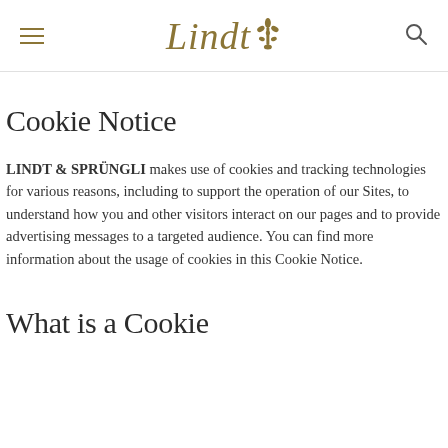Lindt [logo with emblem]
Cookie Notice
LINDT & SPRÜNGLI makes use of cookies and tracking technologies for various reasons, including to support the operation of our Sites, to understand how you and other visitors interact on our pages and to provide advertising messages to a targeted audience. You can find more information about the usage of cookies in this Cookie Notice.
What is a Cookie